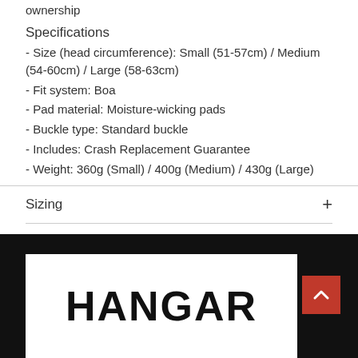ownership
Specifications
- Size (head circumference): Small (51-57cm) / Medium (54-60cm) / Large (58-63cm)
- Fit system: Boa
- Pad material: Moisture-wicking pads
- Buckle type: Standard buckle
- Includes: Crash Replacement Guarantee
- Weight: 360g (Small) / 400g (Medium) / 430g (Large)
Sizing
[Figure (logo): HANGAR logo in bold black text on white background with red scroll-to-top button]